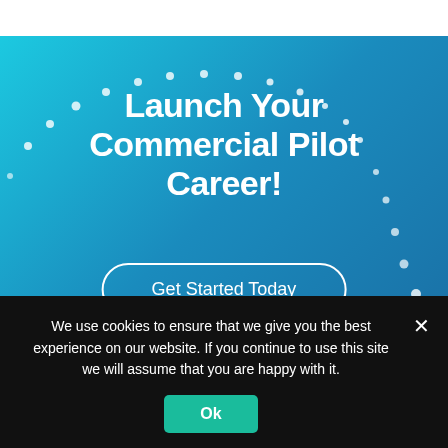[Figure (screenshot): Website screenshot showing a gradient blue hero banner for a commercial pilot career program with decorative white dots, a bold headline, a 'Get Started Today' button, and a cookie consent banner at the bottom.]
Launch Your Commercial Pilot Career!
Get Started Today
We use cookies to ensure that we give you the best experience on our website. If you continue to use this site we will assume that you are happy with it.
Ok